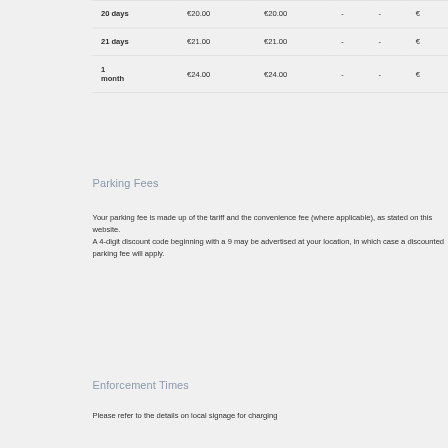| Period | Price1 | Price2 | Col3 | Col4 | Col5 |
| --- | --- | --- | --- | --- | --- |
| 20 days | €20.00 | €20.00 | - | - | € |
| 21 days | €21.00 | €21.00 | - | - | € |
| 1 month | €24.00 | €24.00 | - | - | € |
Parking Fees
Your parking fee is made up of the tariff and the convenience fee (where applicable), as stated on this website.
A 4-digit discount code beginning with a 9 may be advertised at your location, in which case a discounted parking fee will apply.
Enforcement Times
Please refer to the details on local signage for charging